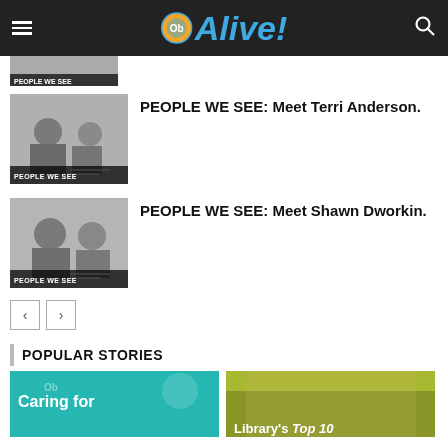Alive!
[Figure (photo): Partial thumbnail with PEOPLE WE SEE label at top of page]
[Figure (photo): Black and white photo of two people, labeled PEOPLE WE SEE]
PEOPLE WE SEE: Meet Terri Anderson.
[Figure (photo): Black and white photo of two people, labeled PEOPLE WE SEE]
PEOPLE WE SEE: Meet Shawn Dworkin.
POPULAR STORIES
[Figure (photo): Caring for... article thumbnail with teal background and Alive logo]
[Figure (photo): Library's Top 10 article thumbnail with yellow-green background]